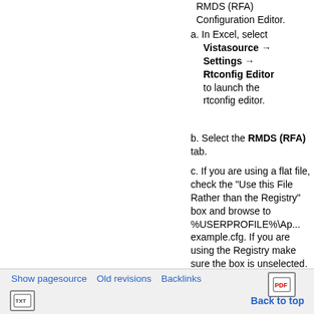RMDS (RFA) Configuration Editor.
a. In Excel, select Vistasource → Settings → Rtconfig Editor to launch the rtconfig editor.
b. Select the RMDS (RFA) tab.
c. If you are using a flat file, check the "Use this File Rather than the Registry" box and browse to %USERPROFILE%\Ap... example.cfg. If you are using the Registry make sure the box is unselected.
I. Ensure that the default Session is RTWSession (an SSLED type
Show pagesource   Old revisions   Backlinks   [PDF]   Back to top